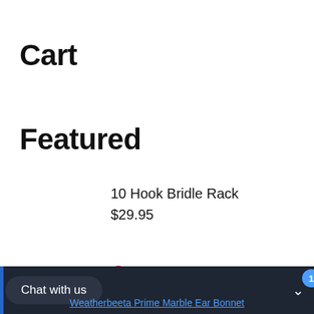Cart
Featured
10 Hook Bridle Rack
$29.95
1 Syringe Luer Slip
Chat with us
Weatherbeeta Prime Marble Ear Bonnet